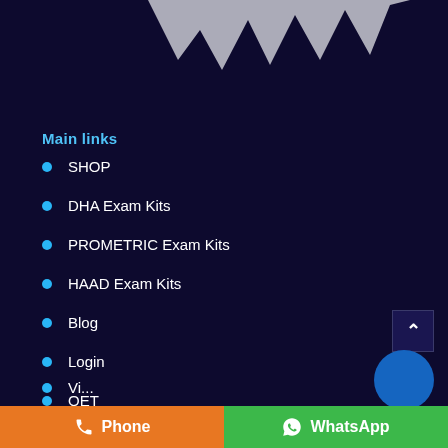[Figure (illustration): Decorative grey zigzag/crown shape banner at top of page on dark navy background]
Main links
SHOP
DHA Exam Kits
PROMETRIC Exam Kits
HAAD Exam Kits
Blog
Login
OET
Phone
WhatsApp